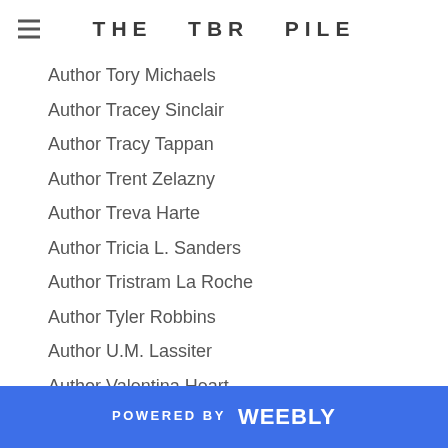THE TBR PILE
Author Tory Michaels
Author Tracey Sinclair
Author Tracy Tappan
Author Trent Zelazny
Author Treva Harte
Author Tricia L. Sanders
Author Tristram La Roche
Author Tyler Robbins
Author U.M. Lassiter
Author Valentina Heart
Author Valerie Bowes
Author Valerie Long
Author Vanessa Devereaux
Author Veronica Dantes
Author Vicki Savage
Author Victoria Blisse
Author Victoria Sue
Author Victoria Vallo
POWERED BY weebly